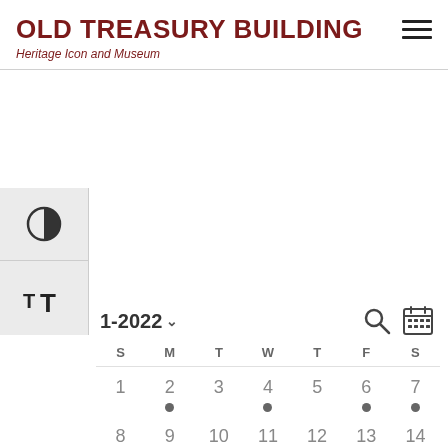OLD TREASURY BUILDING
Heritage Icon and Museum
[Figure (screenshot): Website calendar view for Old Treasury Building, showing month 1-2022, with days of week S M T W T F S and dates 1-14 with event dots on 2, 4, 6, 7, 8]
1-2022
| S | M | T | W | T | F | S |
| --- | --- | --- | --- | --- | --- | --- |
| 1 | 2 | 3 | 4 | 5 | 6 | 7 |
| 8 | 9 | 10 | 11 | 12 | 13 | 14 |